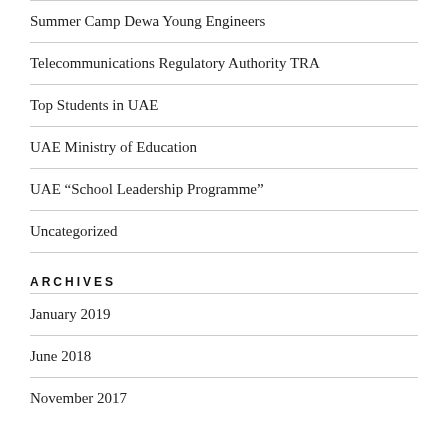Summer Camp Dewa Young Engineers
Telecommunications Regulatory Authority TRA
Top Students in UAE
UAE Ministry of Education
UAE “School Leadership Programme”
Uncategorized
ARCHIVES
January 2019
June 2018
November 2017